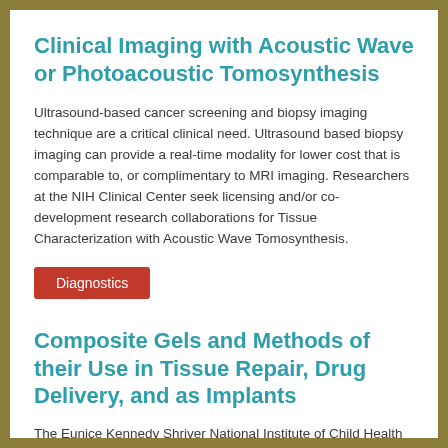Clinical Imaging with Acoustic Wave or Photoacoustic Tomosynthesis
Ultrasound-based cancer screening and biopsy imaging technique are a critical clinical need. Ultrasound based biopsy imaging can provide a real-time modality for lower cost that is comparable to, or complimentary to MRI imaging. Researchers at the NIH Clinical Center seek licensing and/or co-development research collaborations for Tissue Characterization with Acoustic Wave Tomosynthesis.
Diagnostics
Composite Gels and Methods of their Use in Tissue Repair, Drug Delivery, and as Implants
The Eunice Kennedy Shriver National Institute of Child Health and Human Development (NICHD) seeks research and development partners or licensees for novel